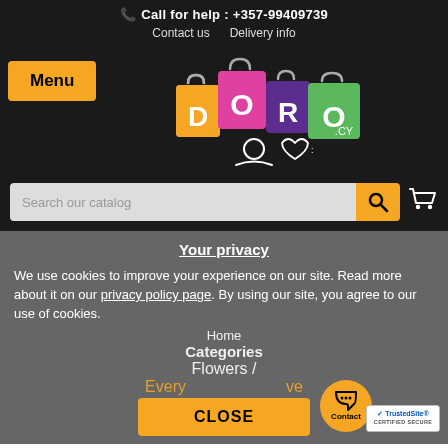Call for help : +357-99409739
Contact us   Delivery info
Menu
[Figure (logo): DORO.CY logo with colorful shopping bags spelling out DORO]
Search our catalog
Your privacy
We use cookies to improve your experience on our site. Read more about it on our privacy policy page. By using our site, you agree to our use of cookies.
Home
Categories
Flowers /
Everyday events / active
CLOSE